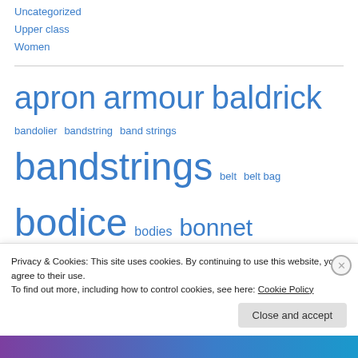Uncategorized
Upper class
Women
apron armour baldrick bandolier bandstring band strings bandstrings belt belt bag bodice bodies bonnet boothose boots breeches buffcoat buff coat buttons canterbury cap cap cassock chaperone chimere
Privacy & Cookies: This site uses cookies. By continuing to use this website, you agree to their use. To find out more, including how to control cookies, see here: Cookie Policy
Close and accept